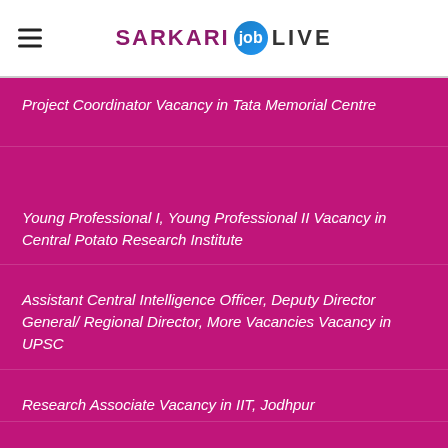SARKARI job LIVE
Project Coordinator Vacancy in Tata Memorial Centre
Young Professional I, Young Professional II Vacancy in Central Potato Research Institute
Assistant Central Intelligence Officer, Deputy Director General/ Regional Director, More Vacancies Vacancy in UPSC
Research Associate Vacancy in IIT, Jodhpur